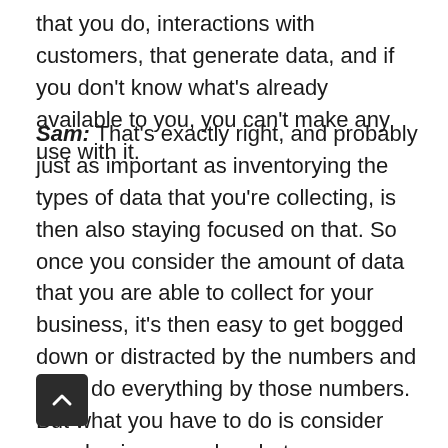that you do, interactions with customers, that generate data, and if you don't know what's already available to you, you can't make any use with it.
Sam: That's exactly right, and probably just as important as inventorying the types of data that you're collecting, is then also staying focused on that. So once you consider the amount of data that you are able to collect for your business, it's then easy to get bogged down or distracted by the numbers and try to do everything by those numbers. But what you have to do is consider your business goals, what are you trying to achieve, and then think through the figures that you actually need to monitor. So for our managed IT services, one of the things we do is we have a QBR, quarterly business review, where we sit down with the business. And it's less about the IT that happened or is happening, and more about the b[usiness] goals of the organization, and looking to see how